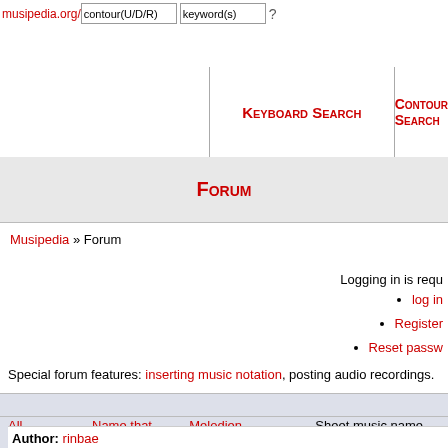musipedia.org/ contour(U/D/R) keyword(s) ?
Keyboard Search | Contour Search
Forum
Musipedia » Forum
Logging in is requ
log in
Register
Reset passw
Special forum features: inserting music notation, posting audio recordings.
All Categories > Name that Tune! > Melodien identifizieren > Sheet music name identify
Author: rinbae
Posted: Dec 23 2020 - 01:18 PM
Subject: Who knows the name of this sheet music ?